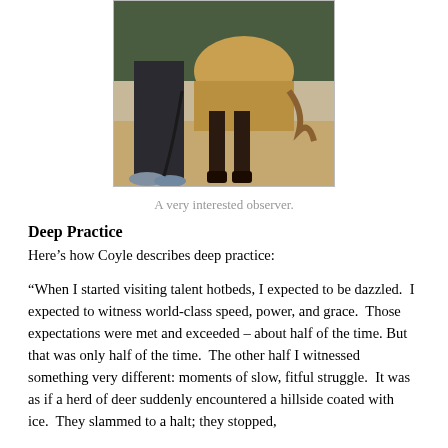[Figure (photo): Photo showing lower body of a person standing next to a horse, with sandy ground visible. Person is wearing dark pants and light shoes, horse has tan/buckskin coloring with dark lower legs.]
A very interested observer.
Deep Practice
Here’s how Coyle describes deep practice:
“When I started visiting talent hotbeds, I expected to be dazzled.  I expected to witness world-class speed, power, and grace.  Those expectations were met and exceeded – about half of the time. But that was only half of the time.  The other half I witnessed something very different: moments of slow, fitful struggle.  It was as if a herd of deer suddenly encountered a hillside coated with ice.  They slammed to a halt; they stopped,